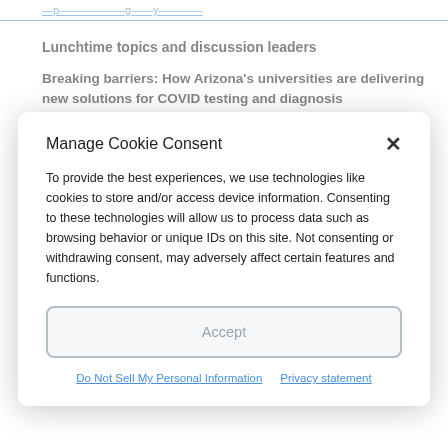Lunchtime topics and discussion leaders
Breaking barriers: How Arizona's universities are delivering new solutions for COVID testing and diagnosis
Carolyn Compton, M.D., Ph.D.
Professor of Life Sciences, Arizona State University
Manage Cookie Consent
To provide the best experiences, we use technologies like cookies to store and/or access device information. Consenting to these technologies will allow us to process data such as browsing behavior or unique IDs on this site. Not consenting or withdrawing consent, may adversely affect certain features and functions.
Accept
Do Not Sell My Personal Information
Privacy statement